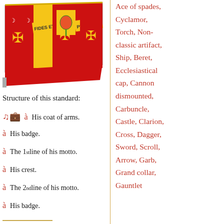[Figure (photo): A heraldic standard/banner with red and yellow colors, showing coats of arms with crosses, crescents, and a flower (rose/pomegranate), with text 'FIDES ET PIETAS' on diagonal bands.]
Structure of this standard:
His coat of arms.
His badge.
The 1st line of his motto.
His crest.
The 2nd line of his motto.
His badge.
Ace of spades, Cyclamor, Torch, Non-classic artifact, Ship, Beret, Ecclesiastical cap, Cannon dismounted, Carbuncle, Castle, Clarion, Cross, Dagger, Sword, Scroll, Arrow, Garb, Grand collar, Gauntlet